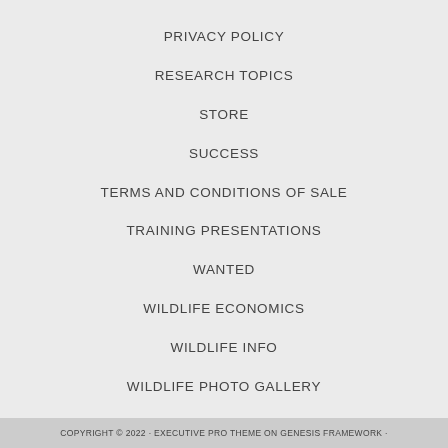PRIVACY POLICY
RESEARCH TOPICS
STORE
SUCCESS
TERMS AND CONDITIONS OF SALE
TRAINING PRESENTATIONS
WANTED
WILDLIFE ECONOMICS
WILDLIFE INFO
WILDLIFE PHOTO GALLERY
COPYRIGHT © 2022 · EXECUTIVE PRO THEME ON GENESIS FRAMEWORK ·